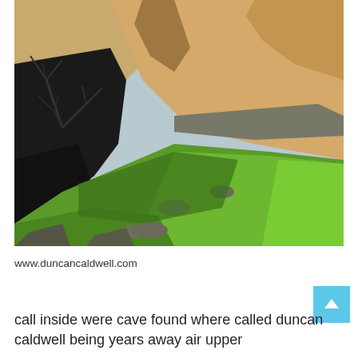[Figure (photo): Outdoor photo of a rocky cliff face with tan/orange stone walls, green grassy slope in the foreground, dark shadowy area with bare tree branches on the left, and scattered rocks and boulders. Bright daylight conditions.]
www.duncancaldwell.com
call inside were cave found where called duncan caldwell being years away air upper